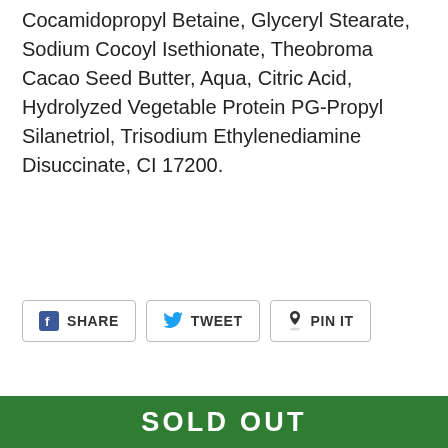Cocamidopropyl Betaine, Glyceryl Stearate, Sodium Cocoyl Isethionate, Theobroma Cacao Seed Butter, Aqua, Citric Acid, Hydrolyzed Vegetable Protein PG-Propyl Silanetriol, Trisodium Ethylenediamine Disuccinate, CI 17200.
[Figure (screenshot): Social share buttons: SHARE (Facebook), TWEET (Twitter), PIN IT (Pinterest)]
CUSTOMERS WHO BOUGHT THIS ITEM ALSO BOUGHT
[Figure (photo): Two product cards showing natural deodorant sticks labeled ROAD with SALE badges, a teal circle with star icon, and a purple circle. A green SOLD OUT bar at the bottom.]